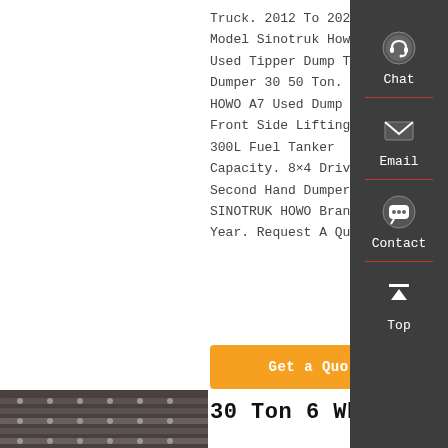Truck. 2012 To 2020 Year Model Sinotruk Howo 6*4 Used Tipper Dump Truck Dumper 30 50 Ton. 380HP HOWO A7 Used Dump Truck Front Side Lifting Type 300L Fuel Tanker Capacity. 8×4 Drive Mode Second Hand Dumper Truck SINOTRUK HOWO Brand 20 Year. Request A Quote
Get a Quote
[Figure (photo): Bottom view of truck bed/axles, dark tones]
30 Ton 6 Wheel